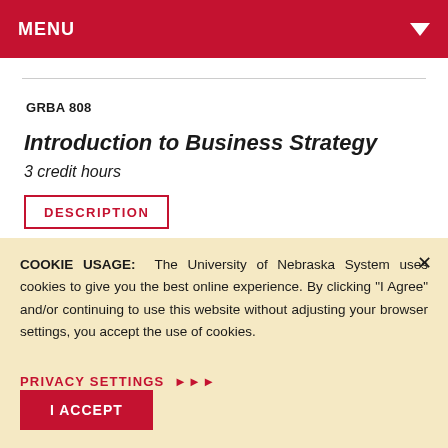MENU
GRBA 808
Introduction to Business Strategy
3 credit hours
DESCRIPTION
COOKIE USAGE: The University of Nebraska System uses cookies to give you the best online experience. By clicking "I Agree" and/or continuing to use this website without adjusting your browser settings, you accept the use of cookies.
PRIVACY SETTINGS ▶▶▶
I ACCEPT